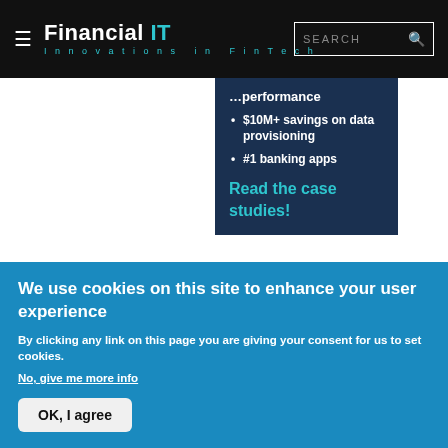Financial IT — Innovations in FinTech
performance
$10M+ savings on data provisioning
#1 banking apps
Read the case studies!
[Figure (photo): Headshot of a young man in a dark shirt, with kangaroo artwork visible in the background]
We use cookies on this site to enhance your user experience
By clicking any link on this page you are giving your consent for us to set cookies.
No, give me more info
OK, I agree